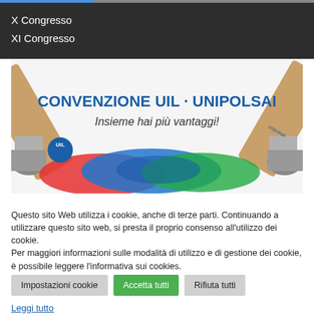X Congresso
XI Congresso
[Figure (illustration): Banner advertising CONVENZIONE UIL · UNIPOLSAI with text 'Insieme hai più vantaggi!' and paint brushes with colorful paint strokes on white background]
Questo sito Web utilizza i cookie, anche di terze parti. Continuando a utilizzare questo sito web, si presta il proprio consenso all'utilizzo dei cookie. Per maggiori informazioni sulle modalità di utilizzo e di gestione dei cookie, è possibile leggere l'informativa sui cookies.
Impostazioni cookie
Accetta tutti
Rifiuta tutti
Leggi tutto